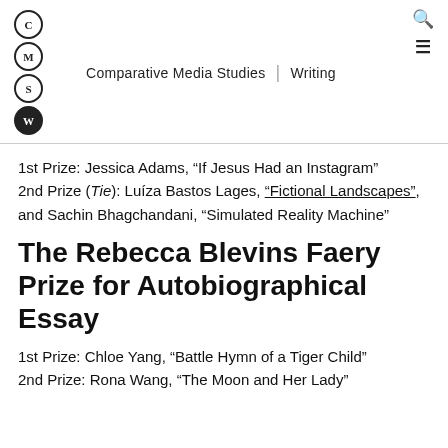Comparative Media Studies | Writing
1st Prize: Jessica Adams, "If Jesus Had an Instagram"
2nd Prize (Tie): Luíza Bastos Lages, "Fictional Landscapes", and Sachin Bhagchandani, "Simulated Reality Machine"
The Rebecca Blevins Faery Prize for Autobiographical Essay
1st Prize: Chloe Yang, "Battle Hymn of a Tiger Child"
2nd Prize: Rona Wang, "The Moon and Her Lady"